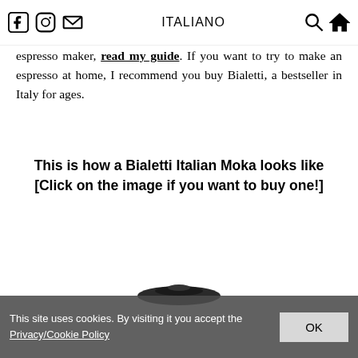ITALIANO
espresso maker, read my guide. If you want to try to make an espresso at home, I recommend you buy Bialetti, a bestseller in Italy for ages.
This is how a Bialetti Italian Moka looks like [Click on the image if you want to buy one!]
[Figure (photo): Partial view of a Bialetti Moka espresso maker lid/top]
This site uses cookies. By visiting it you accept the Privacy/Cookie Policy